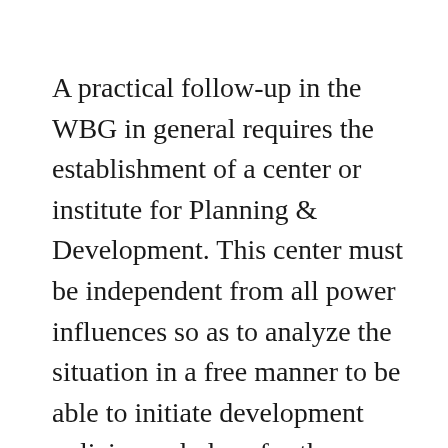A practical follow-up in the WBG in general requires the establishment of a center or institute for Planning & Development. This center must be independent from all power influences so as to analyze the situation in a free manner to be able to initiate development policies and plans for the majority.